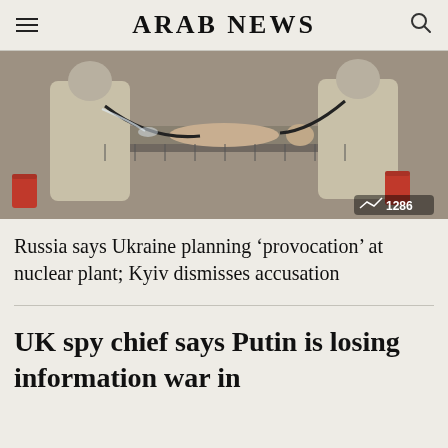ARAB NEWS
[Figure (photo): People in protective suits around a person lying on a table, with red buckets visible on sides. A photo count badge shows 1286.]
Russia says Ukraine planning ‘provocation’ at nuclear plant; Kyiv dismisses accusation
UK spy chief says Putin is losing information war in